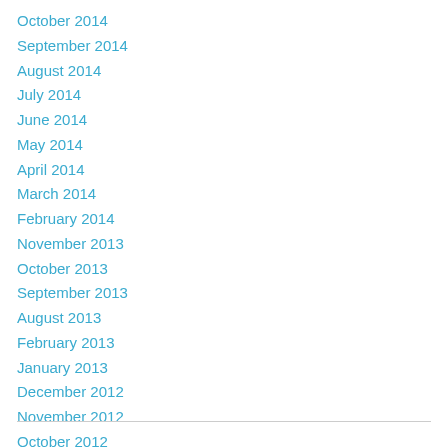October 2014
September 2014
August 2014
July 2014
June 2014
May 2014
April 2014
March 2014
February 2014
November 2013
October 2013
September 2013
August 2013
February 2013
January 2013
December 2012
November 2012
October 2012